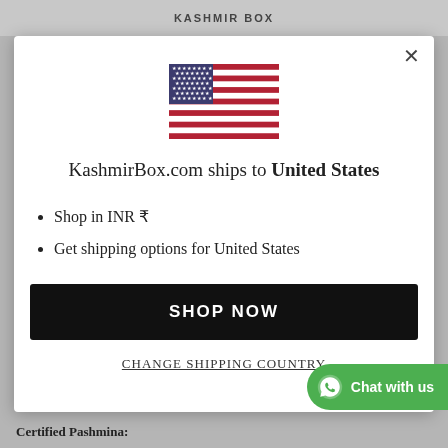KASHMIR BOX
[Figure (illustration): US flag icon centered at top of modal dialog]
KashmirBox.com ships to United States
Shop in INR ₹
Get shipping options for United States
SHOP NOW
CHANGE SHIPPING COUNTRY
Chat with us
Certified Pashmina: